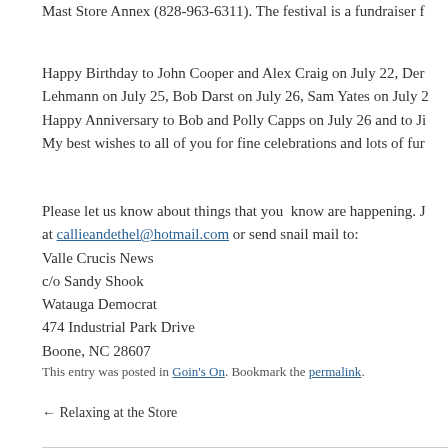Mast Store Annex (828-963-6511). The festival is a fundraiser f…
Happy Birthday to John Cooper and Alex Craig on July 22, Den… Lehmann on July 25, Bob Darst on July 26, Sam Yates on July 2… Happy Anniversary to Bob and Polly Capps on July 26 and to Ji… My best wishes to all of you for fine celebrations and lots of fur…
Please let us know about things that you  know are happening. J… at callieandethel@hotmail.com or send snail mail to:
Valle Crucis News
c/o Sandy Shook
Watauga Democrat
474 Industrial Park Drive
Boone, NC 28607
This entry was posted in Goin's On. Bookmark the permalink.
← Relaxing at the Store